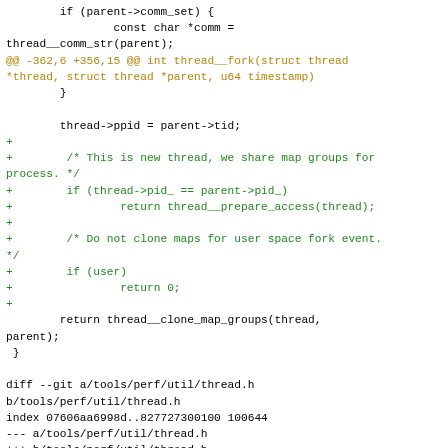Code diff showing thread fork and thread.h changes in tools/perf/util